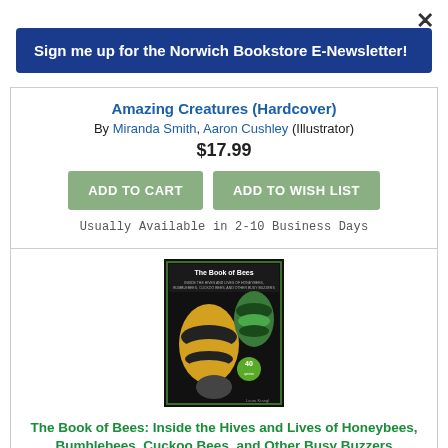×
Sign me up for the Norwich Bookstore E-Newsletter!
Amazing Creatures (Hardcover)
By Miranda Smith, Aaron Cushley (Illustrator)
$17.99
ADD TO CART
ADD TO WISH LIST
Usually Available in 2-10 Business Days
[Figure (photo): Book cover of 'The Book of Bees' showing close-up photographs of bees on a dark background with green border]
The Book of Bees: Inside the Hives and Lives of Honeybees, Bumblebees, Cuckoo Bees, and Other Busy Buzzers (Hardcover)